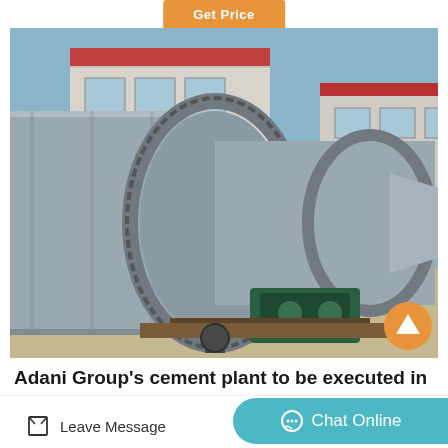[Figure (photo): Industrial rotary kiln or large cylindrical drum equipment laid horizontally on a factory yard, with a building in the background. The large metallic cylindrical tubes are connected with flanges and gears, mounted on a wooden pallet with green drive machinery visible.]
Adani Group's cement plant to be executed in
Leave Message
Chat Online